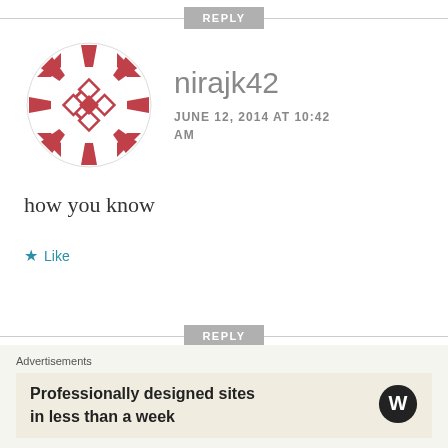REPLY
[Figure (illustration): Circular decorative avatar icon with red/pink arrow and diamond shapes arranged in a mandala-like pattern on white background]
nirajk42
JUNE 12, 2014 AT 10:42 AM
how you know
★ Like
REPLY
[Figure (illustration): Circular avatar icon with blue/navy checkered dome/mushroom shape with arrow pieces around it]
MK
JUNE 12, 2014 AT
Advertisements
Professionally designed sites in less than a week
[Figure (logo): WordPress logo - black circle with white W letter]